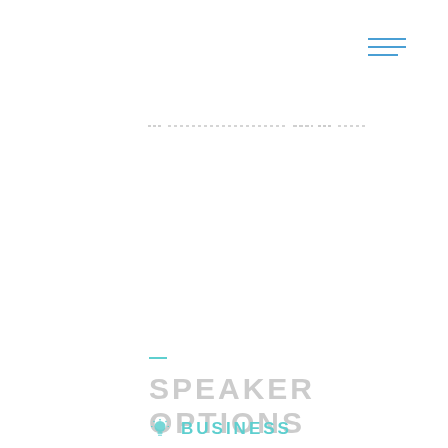[Figure (other): Hamburger menu icon with three horizontal blue lines in top-right corner]
[Figure (other): Faint dashed/dotted decorative line element near top center]
SPEAKER OPTIONS
BUSINESS